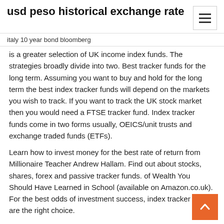usd peso historical exchange rate
italy 10 year bond bloomberg
is a greater selection of UK income index funds. The strategies broadly divide into two. Best tracker funds for the long term. Assuming you want to buy and hold for the long term the best index tracker funds will depend on the markets you wish to track. If you want to track the UK stock market then you would need a FTSE tracker fund. Index tracker funds come in two forms usually, OEICS/unit trusts and exchange traded funds (ETFs).
Learn how to invest money for the best rate of return from Millionaire Teacher Andrew Hallam. Find out about stocks, shares, forex and passive tracker funds. of Wealth You Should Have Learned in School (available on Amazon.co.uk). For the best odds of investment success, index tracker funds are the right choice.